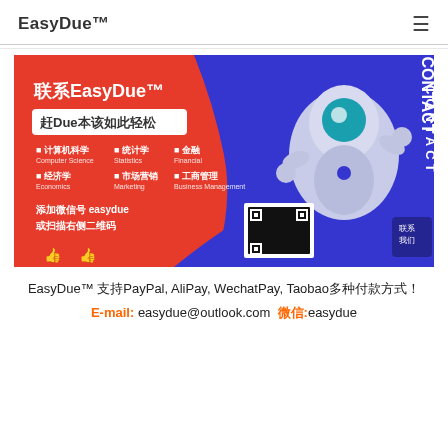EasyDue™
[Figure (illustration): EasyDue promotional banner with orange and blue background showing an astronaut robot, Chinese text '联系EasyDue™', '赶Due本该如此轻松', subject list including 计算机科学, 统计学, 金融, 经济学, 市场营销, 工商管理, WeChat contact info, QR code, and CONTACT text on right side]
EasyDue™ 支持PayPal, AliPay, WechatPay, Taobao多种付款方式！
E-mail: easydue@outlook.com  微信:easydue